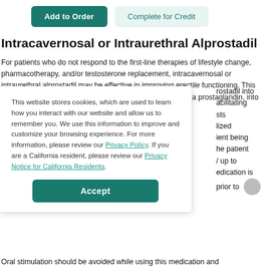Add to Order | Complete for Credit
Intracavernosal or Intraurethral Alprostadil
For patients who do not respond to the first-line therapies of lifestyle change, pharmacotherapy, and/or testosterone replacement, intracavernosal or intraurethral alprostadil may be effective in improving erectile functioning. This second-line therapy consists of the injection of alprostadil, a prostaglandin, into ...
This website stores cookies, which are used to learn how you interact with our website and allow us to remember you. We use this information to improve and customize your browsing experience. For more information, please review our Privacy Policy. If you are a California resident, please review our Privacy Notice for California Residents.
Oral stimulation should be avoided while using this medication and